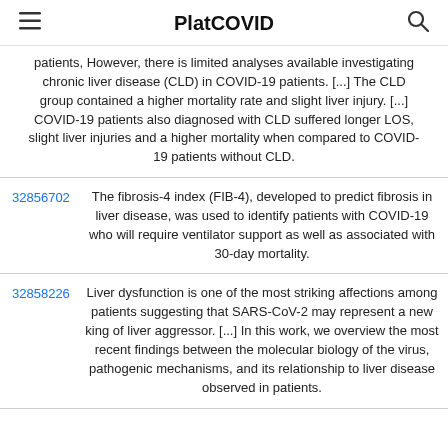PlatCOVID
patients, However, there is limited analyses available investigating chronic liver disease (CLD) in COVID-19 patients. [...] The CLD group contained a higher mortality rate and slight liver injury. [...] COVID-19 patients also diagnosed with CLD suffered longer LOS, slight liver injuries and a higher mortality when compared to COVID-19 patients without CLD.
32856702 — The fibrosis-4 index (FIB-4), developed to predict fibrosis in liver disease, was used to identify patients with COVID-19 who will require ventilator support as well as associated with 30-day mortality.
32858226 — Liver dysfunction is one of the most striking affections among patients suggesting that SARS-CoV-2 may represent a new king of liver aggressor. [...] In this work, we overview the most recent findings between the molecular biology of the virus, pathogenic mechanisms, and its relationship to liver disease observed in patients.